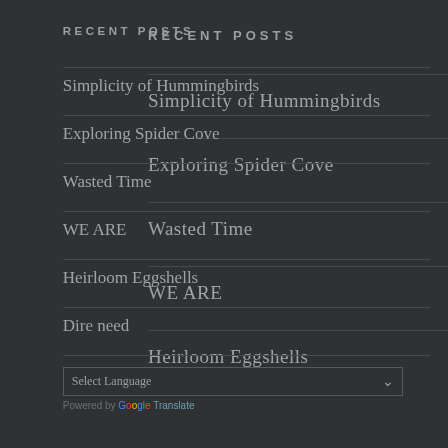RECENT POSTS
Simplicity of Hummingbirds
Exploring Spider Cove
Wasted Time
WE ARE
Heirloom Eggshells
Dire need
Select Language
Powered by Google Translate